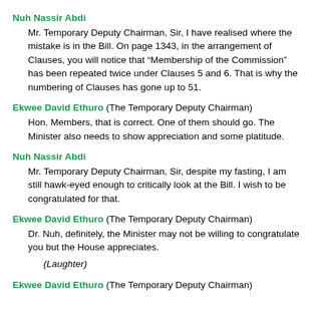Nuh Nassir Abdi
Mr. Temporary Deputy Chairman, Sir, I have realised where the mistake is in the Bill. On page 1343, in the arrangement of Clauses, you will notice that “Membership of the Commission” has been repeated twice under Clauses 5 and 6. That is why the numbering of Clauses has gone up to 51.
Ekwee David Ethuro (The Temporary Deputy Chairman)
Hon. Members, that is correct. One of them should go. The Minister also needs to show appreciation and some platitude.
Nuh Nassir Abdi
Mr. Temporary Deputy Chairman, Sir, despite my fasting, I am still hawk-eyed enough to critically look at the Bill. I wish to be congratulated for that.
Ekwee David Ethuro (The Temporary Deputy Chairman)
Dr. Nuh, definitely, the Minister may not be willing to congratulate you but the House appreciates.
(Laughter)
Ekwee David Ethuro (The Temporary Deputy Chairman)